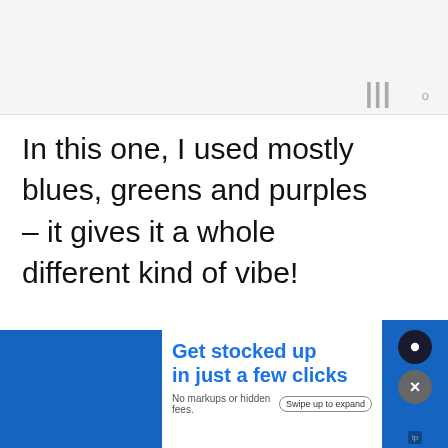[Figure (screenshot): Top UI bar with gray background and stylized triple-bar wordmark icon with superscript degree symbol in gray]
In this one, I used mostly blues, greens and purples – it gives it a whole different kind of vibe!

Both of these paintings started out using the same process I use in the vido
[Figure (infographic): Floating like button (teal circle with heart icon), count 472, and share button. Advertisement overlay at bottom: 'Get stocked up in just a few clicks. No markups or hidden fees. Swipe up to expand' with blue side bars and close/P buttons.]